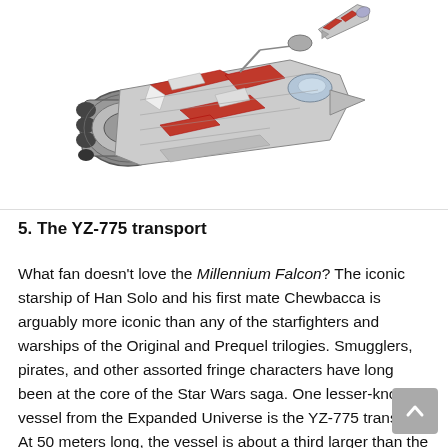[Figure (illustration): Illustration of the YZ-775 transport starship, a sci-fi vessel with red and white paneling, large engine pods on the left, and a smaller secondary craft visible at upper right. The ship is shown at a diagonal angle against a white background.]
5. The YZ-775 transport
What fan doesn't love the Millennium Falcon? The iconic starship of Han Solo and his first mate Chewbacca is arguably more iconic than any of the starfighters and warships of the Original and Prequel trilogies. Smugglers, pirates, and other assorted fringe characters have long been at the core of the Star Wars saga. One lesser-known vessel from the Expanded Universe is the YZ-775 transport. At 50 meters long, the vessel is about a third larger than the Falcon. The design elements of this vessel are distinctly Corellian–the cockpit, engine arrangement, speed, and armament all being hallmarks of the